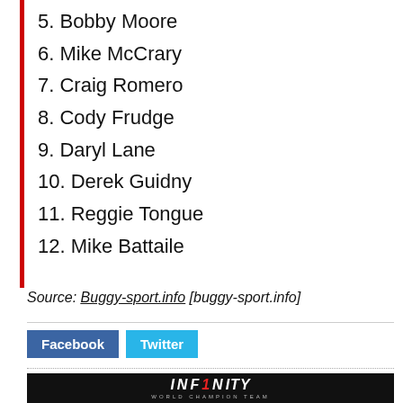5. Bobby Moore
6. Mike McCrary
7. Craig Romero
8. Cody Frudge
9. Daryl Lane
10. Derek Guidny
11. Reggie Tongue
12. Mike Battaile
Source: Buggy-sport.info [buggy-sport.info]
[Figure (logo): Infinity World Champion Team logo banner on black background]
[Figure (photo): Red background image, partial view]